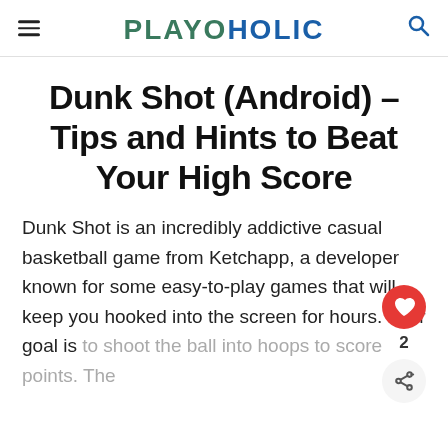PLAYOHOLIC
Dunk Shot (Android) – Tips and Hints to Beat Your High Score
Dunk Shot is an incredibly addictive casual basketball game from Ketchapp, a developer known for some easy-to-play games that will keep you hooked into the screen for hours. Your goal is to shoot the ball into hoops to score points. The game is well to splash...